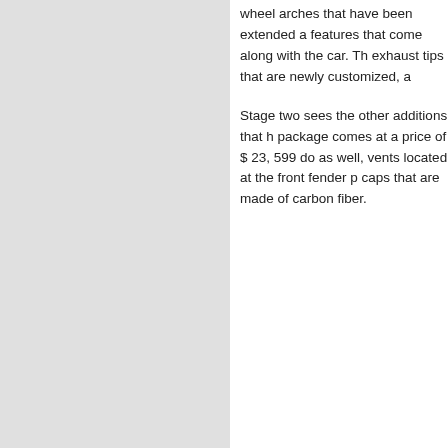wheel arches that have been extended a features that come along with the car. Th exhaust tips that are newly customized, a
Stage two sees the other additions that h package comes at a price of $ 23, 599 do as well, vents located at the front fender p caps that are made of carbon fiber.